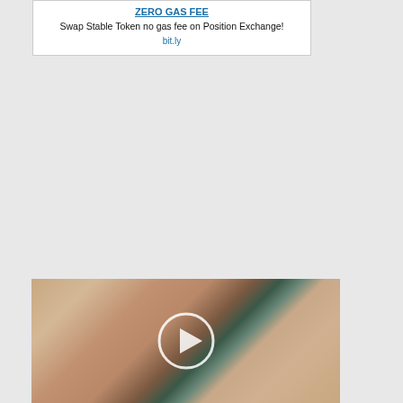ZERO GAS FEE
Swap Stable Token no gas fee on Position Exchange!
bit.ly
[Figure (photo): A photo showing a person in tight clothing near a bathroom sink, with a video play button overlay.]